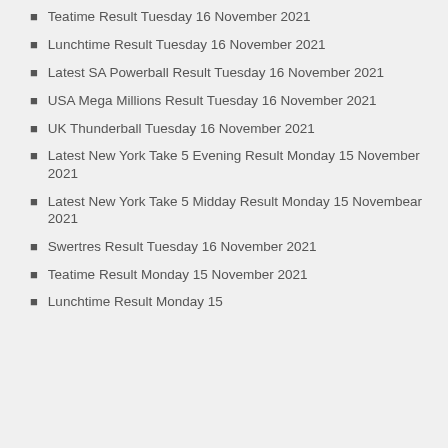Teatime Result Tuesday 16 November 2021
Lunchtime Result Tuesday 16 November 2021
Latest SA Powerball Result Tuesday 16 November 2021
USA Mega Millions Result Tuesday 16 November 2021
UK Thunderball Tuesday 16 November 2021
Latest New York Take 5 Evening Result Monday 15 November 2021
Latest New York Take 5 Midday Result Monday 15 Novembear 2021
Swertres Result Tuesday 16 November 2021
Teatime Result Monday 15 November 2021
Lunchtime Result Monday 15